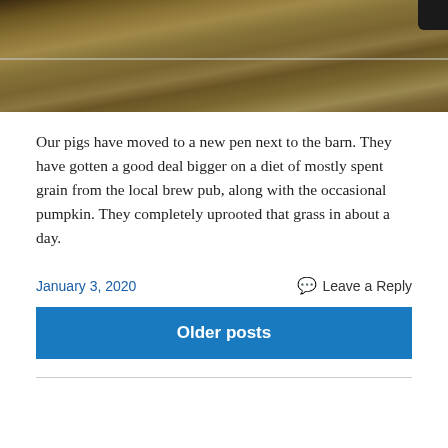[Figure (photo): Outdoor photo of a dirt/hay field with a wire fence line visible horizontally across the middle of the image. Brown dried grass and soil visible.]
Our pigs have moved to a new pen next to the barn. They have gotten a good deal bigger on a diet of mostly spent grain from the local brew pub, along with the occasional pumpkin. They completely uprooted that grass in about a day.
January 3, 2020   Leave a Reply
Older posts